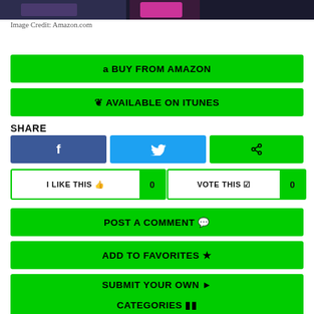[Figure (photo): Partial anime/manga image at top of page]
Image Credit: Amazon.com
a BUY FROM AMAZON
* AVAILABLE ON ITUNES
SHARE
[Figure (other): Facebook share button (blue with f icon)]
[Figure (other): Twitter share button (cyan with bird icon)]
[Figure (other): Share button (green with share icon)]
I LIKE THIS 0
VOTE THIS 0
POST A COMMENT
ADD TO FAVORITES
SUBMIT YOUR OWN
CATEGORIES